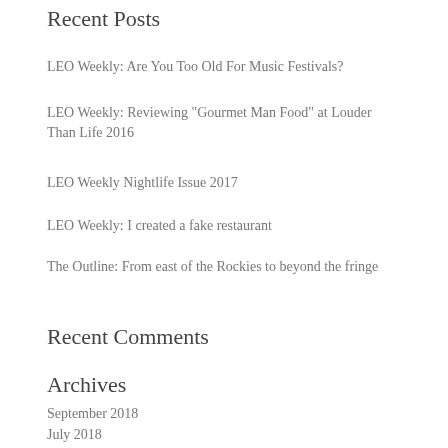Recent Posts
LEO Weekly: Are You Too Old For Music Festivals?
LEO Weekly: Reviewing "Gourmet Man Food" at Louder Than Life 2016
LEO Weekly Nightlife Issue 2017
LEO Weekly: I created a fake restaurant
The Outline: From east of the Rockies to beyond the fringe
Recent Comments
Archives
September 2018
July 2018
June 2018